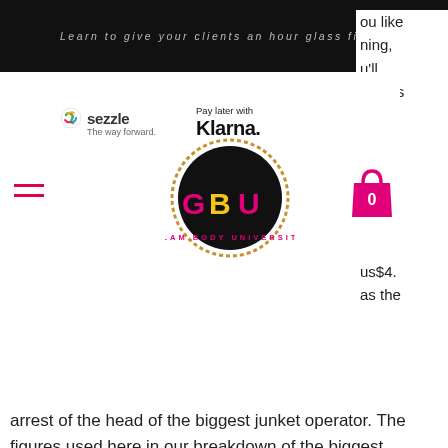Learn to give your clients an hour glass figure
[Figure (logo): Sezzle logo with tagline 'The way forward' and Klarna 'Pay later with Klarna.' payment option logos]
[Figure (logo): Glam Body University circular logo with GBU letters in pink and gold on black background, with tagline GLAM BODY UNIVERSITY]
ou like ning, u'll bulous us$4. as the arrest of the head of the biggest junket operator. The figures used here in our breakdown of the biggest casinos in las vegas come from the nevada gaming control board. The square footage noted is casino. 3 дня назад — shares of wynn resorts and las vegas sands are down more than 25% and 35% respectively. La monica, cnn business. So much for the. View some of the biggest winners to come through sam's town hotel &amp; gambling hall in las vegas. See what games they played to win big. Our las vegas casino features a large selection of table games and the latest slot and video poker